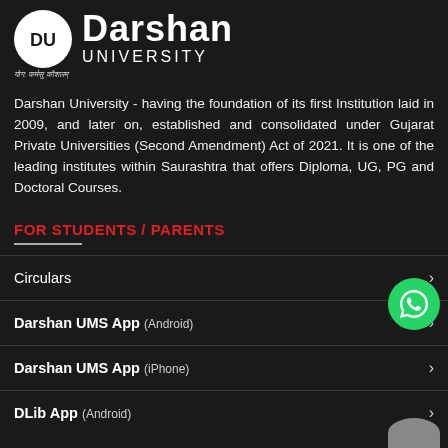[Figure (logo): Darshan University logo — circular white logo with 'DU' monogram, and 'Darshan UNIVERSITY' text beside it]
योग: कर्मसु कौशलम्
Darshan University - having the foundation of its first Institution laid in 2009, and later on, established and consolidated under Gujarat Private Universities (Second Amendment) Act of 2021. It is one of the leading institutes within Saurashtra that offers Diploma, UG, PG and Doctoral Courses.
FOR STUDENTS / PARENTS
Circulars
Darshan UMS App (Android)
Darshan UMS App (iPhone)
DLib App (Android)